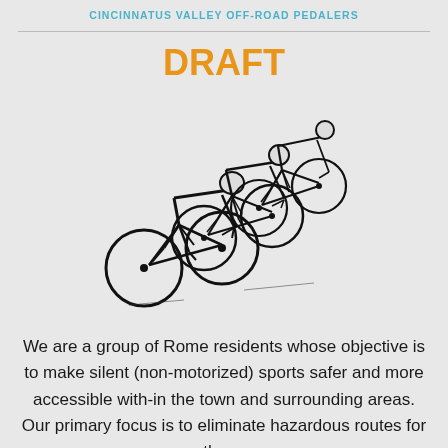Cincinnatus Valley Off-Road Pedalers
DRAFT
[Figure (illustration): Black and white illustration of a group of cyclists racing on road bikes, leaning forward in aerodynamic positions, arranged diagonally across the image.]
We are a group of Rome residents whose objective is to make silent (non-motorized) sports safer and more accessible with-in the town and surrounding areas. Our primary focus is to eliminate hazardous routes for these